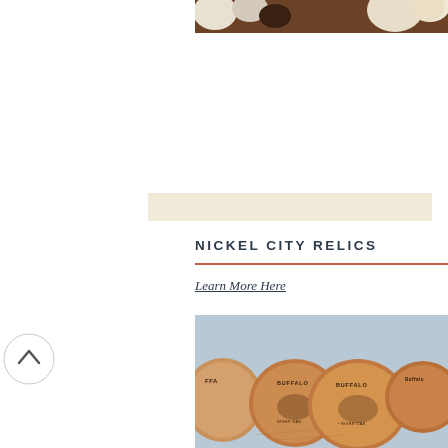[Figure (photo): Partial view of a photo showing white and cream colored objects on a dark wooden surface, cropped at the top of the page]
[Figure (illustration): Beige/cream colored horizontal bar or divider]
NICKEL CITY RELICS
Learn More Here
[Figure (photo): Photo of multiple wooden coasters or discs engraved with 'BUFFALO' text and a buffalo/bison illustration, stacked and displayed together]
[Figure (illustration): Circular back-to-top button with an upward-pointing chevron arrow inside a white circle with a light gray border]